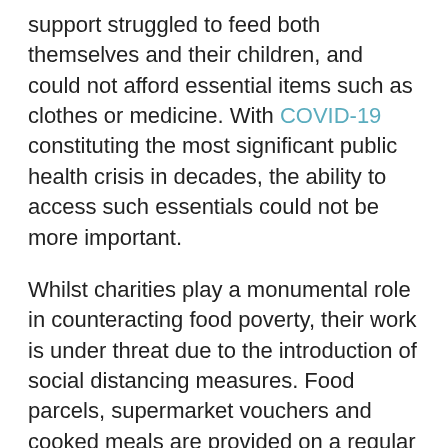support struggled to feed both themselves and their children, and could not afford essential items such as clothes or medicine. With COVID-19 constituting the most significant public health crisis in decades, the ability to access such essentials could not be more important.
Whilst charities play a monumental role in counteracting food poverty, their work is under threat due to the introduction of social distancing measures. Food parcels, supermarket vouchers and cooked meals are provided on a regular basis, but this tends to occur at either the homes of charity patrons or via other charity-organised drop-ins. With charity-run facilities such as these closing in an attempt to prevent the spread of the virus, asylum seekers face